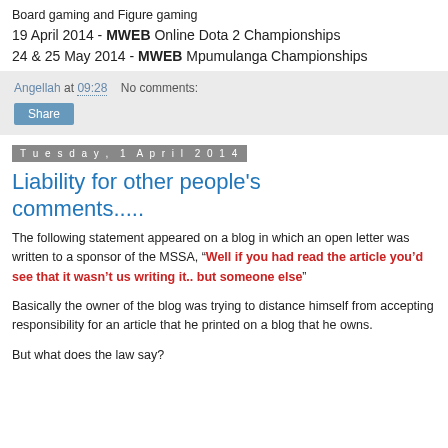Board gaming and Figure gaming
19 April 2014 - MWEB Online Dota 2 Championships
24 & 25 May 2014 - MWEB Mpumulanga Championships
Angellah at 09:28    No comments:
Share
Tuesday, 1 April 2014
Liability for other people's comments.....
The following statement appeared on a blog in which an open letter was written to a sponsor of the MSSA, "Well if you had read the article you'd see that it wasn't us writing it.. but someone else"
Basically the owner of the blog was trying to distance himself from accepting responsibility for an article that he printed on a blog that he owns.
But what does the law say?